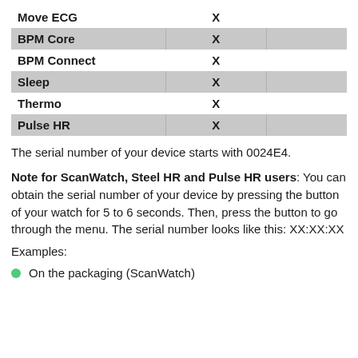|  |  |  |
| --- | --- | --- |
| Move ECG | X |  |
| BPM Core | X |  |
| BPM Connect | X |  |
| Sleep | X |  |
| Thermo | X |  |
| Pulse HR | X |  |
The serial number of your device starts with 0024E4.
Note for ScanWatch, Steel HR and Pulse HR users: You can obtain the serial number of your device by pressing the button of your watch for 5 to 6 seconds. Then, press the button to go through the menu. The serial number looks like this: XX:XX:XX
Examples:
On the packaging (ScanWatch)